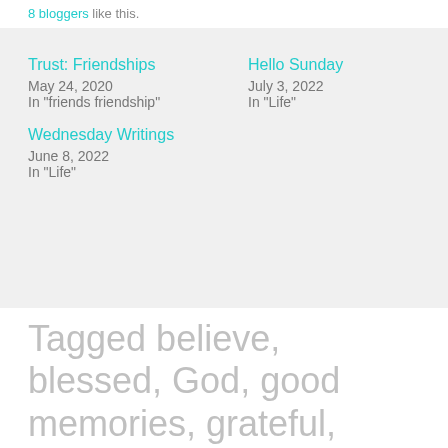8 bloggers like this.
Trust: Friendships
May 24, 2020
In "friends friendship"
Hello Sunday
July 3, 2022
In "Life"
Wednesday Writings
June 8, 2022
In "Life"
Tagged believe, blessed, God, good memories, grateful, happiness, hope, joy, Life, love, memories, peace, positive energy, positive vibes, prayer, reflections, thoughtful moments